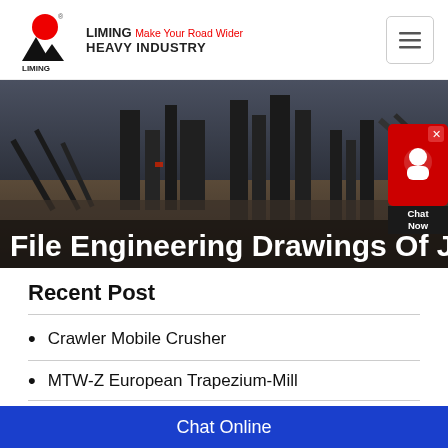LIMING Make Your Road Wider HEAVY INDUSTRY
[Figure (photo): Industrial quarry/crushing plant machinery photo used as hero banner background. Text overlay reads: File Engineering Drawings Of Ja]
File Engineering Drawings Of Ja
Recent Post
Crawler Mobile Crusher
MTW-Z European Trapezium-Mill
K Series Mobile Crushing Plant
Chat Online